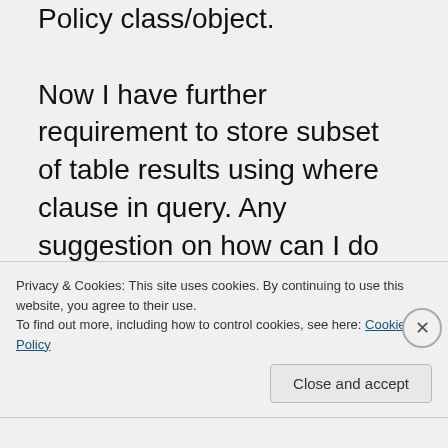Policy class/object.

Now I have further requirement to store subset of table results using where clause in query. Any suggestion on how can I do it in current prerelease version?

Thanks for your
Privacy & Cookies: This site uses cookies. By continuing to use this website, you agree to their use.
To find out more, including how to control cookies, see here: Cookie Policy